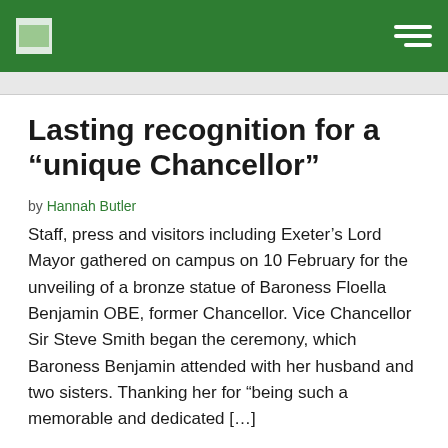Lasting recognition for a “unique Chancellor”
by Hannah Butler
Staff, press and visitors including Exeter’s Lord Mayor gathered on campus on 10 February for the unveiling of a bronze statue of Baroness Floella Benjamin OBE, former Chancellor. Vice Chancellor Sir Steve Smith began the ceremony, which Baroness Benjamin attended with her husband and two sisters. Thanking her for “being such a memorable and dedicated [...]